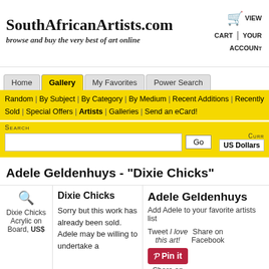SouthAfricanArtists.com
browse and buy the very best of art online
VIEW CART | YOUR ACCOUNT
Home | Gallery | My Favorites | Power Search
Random | By Subject | By Category | By Medium | Recent Additions | Recently Sold | Special Offers | Artists | Galleries | Send an eCard!
Search
Currency: US Dollars
Adele Geldenhuys - "Dixie Chicks"
Dixie Chicks Acrylic on Board, US$
Dixie Chicks
Sorry but this work has already been sold. Adele may be willing to undertake a
Adele Geldenhuys
Add Adele to your favorite artists list
Tweet I love this art!
Share on Facebook
Pin it Share on Pinterest